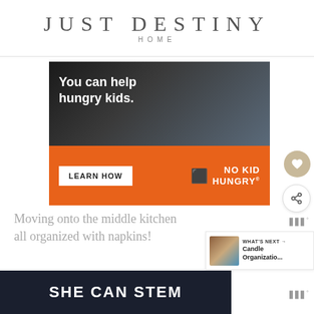JUST DESTINY HOME
[Figure (screenshot): No Kid Hungry advertisement banner. Top half: dark photo of child eating with text 'You can help hungry kids.' Bottom half: orange background with 'LEARN HOW' button and 'NO KID HUNGRY' logo.]
Moving onto the middle kitchen all organized with napkins!
[Figure (screenshot): SHE CAN STEM advertisement banner on dark background.]